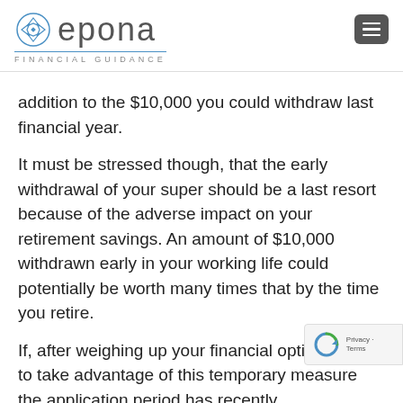epona FINANCIAL GUIDANCE
addition to the $10,000 you could withdraw last financial year.
It must be stressed though, that the early withdrawal of your super should be a last resort because of the adverse impact on your retirement savings. An amount of $10,000 withdrawn early in your working life could potentially be worth many times that by the time you retire.
If, after weighing up your financial options wish to take advantage of this temporary measure the application period has recently